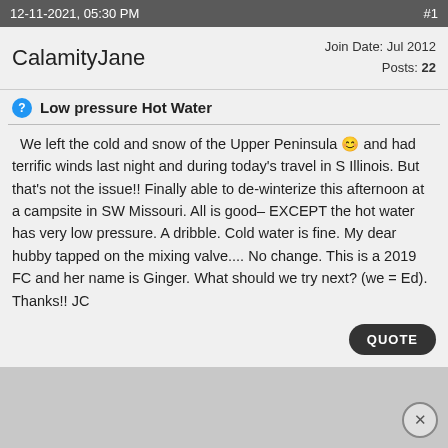12-11-2021, 05:30 PM    #1
CalamityJane
Join Date: Jul 2012
Posts: 22
Low pressure Hot Water
We left the cold and snow of the Upper Peninsula 🙂 and had terrific winds last night and during today's travel in S Illinois. But that's not the issue!! Finally able to de-winterize this afternoon at a campsite in SW Missouri. All is good– EXCEPT the hot water has very low pressure. A dribble. Cold water is fine. My dear hubby tapped on the mixing valve.... No change. This is a 2019 FC and her name is Ginger. What should we try next? (we = Ed). Thanks!! JC
QUOTE